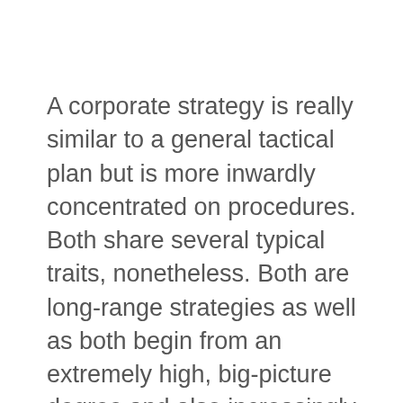A corporate strategy is really similar to a general tactical plan but is more inwardly concentrated on procedures. Both share several typical traits, nonetheless. Both are long-range strategies as well as both begin from an extremely high, big-picture degree and also increasingly concentrate on details. Look at a corporate plan as a company renovation plan that examines internal capacities to make use of outside chances.
This strategy also has activities that are needed to complete purposes eg; providing a map to benchmark progress at regular periods. Essentially, an organisation improvement plan, or company strategy, is a guidebook